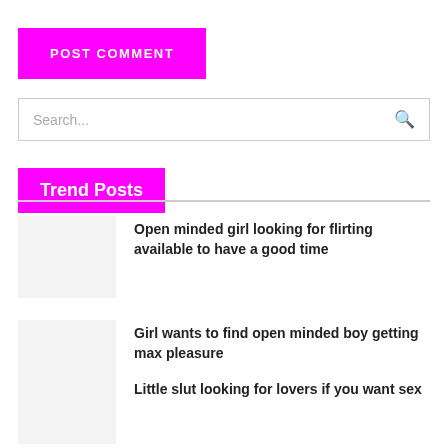POST COMMENT
Search...
Trend Posts
Open minded girl looking for flirting available to have a good time
Girl wants to find open minded boy getting max pleasure
Little slut looking for lovers if you want sex